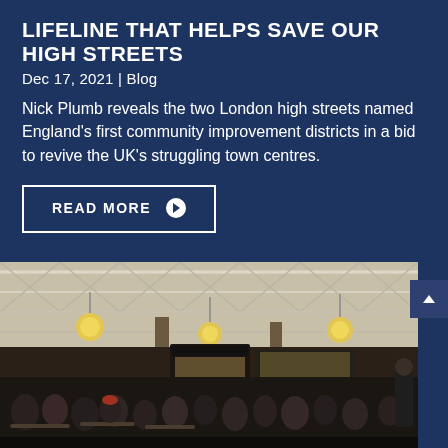LIFELINE THAT HELPS SAVE OUR HIGH STREETS
Dec 17, 2021 | Blog
Nick Plumb reveals the two London high streets named England's first community improvement districts in a bid to revive the UK's struggling town centres.
READ MORE ▶
[Figure (photo): Interior of a large market or food hall with a steel truss roof, hanging globe pendant lights, busy with people seated at tables, food stalls and shopfronts visible in the background.]